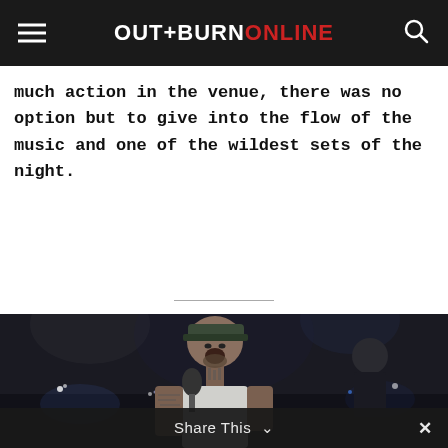OUTBURN ONLINE
much action in the venue, there was no option but to give into the flow of the music and one of the wildest sets of the night.
[Figure (photo): Concert photo of a heavily tattooed singer performing on stage, holding a microphone, wearing a cap and white t-shirt, with other band members visible in the background in a dark venue with stage lighting.]
Share This ∨  ×